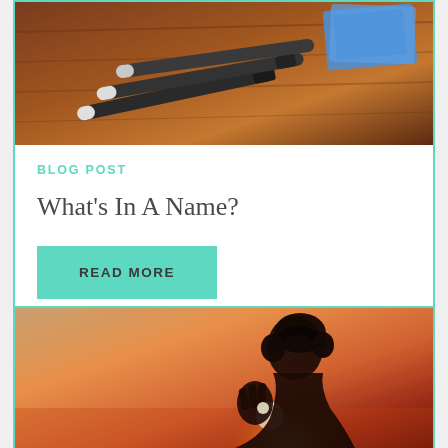[Figure (photo): Photo of pens/markers on a wooden desk surface with some cards]
BLOG POST
What's In A Name?
READ MORE
[Figure (photo): Silhouette of person wearing headphones against a sunset sky]